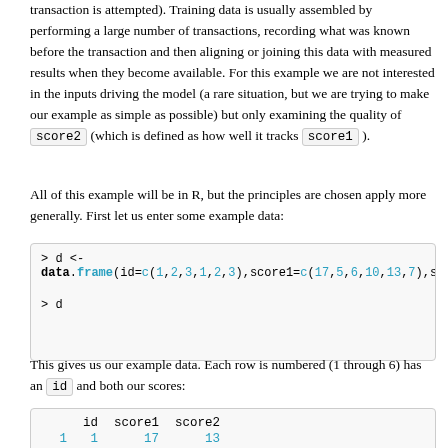transaction is attempted). Training data is usually assembled by performing a large number of transactions, recording what was known before the transaction and then aligning or joining this data with measured results when they become available. For this example we are not interested in the inputs driving the model (a rare situation, but we are trying to make our example as simple as possible) but only examining the quality of score2 (which is defined as how well it tracks score1 ).
All of this example will be in R, but the principles are chosen apply more generally. First let us enter some example data:
[Figure (screenshot): R code block: > d <- data.frame(id=c(1,2,3,1,2,3),score1=c(17,5,6,10,13,7),score...  > d]
This gives us our example data. Each row is numbered (1 through 6) has an id and both our scores:
|  | id | score1 | score2 |
| --- | --- | --- | --- |
| 1 | 1 | 17 | 13 |
| 2 | 2 | 5 | 10 |
| 3 | 3 | 6 | 5 |
| 4 | 1 | 10 | 12 |